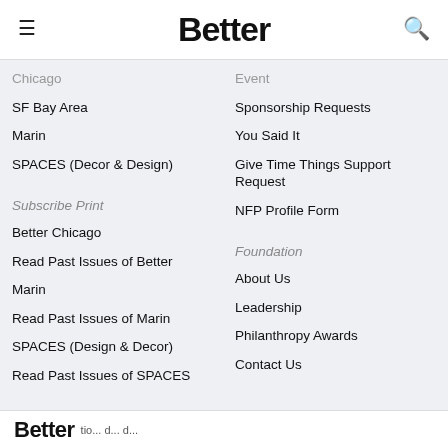Better
Chicago
SF Bay Area
Marin
SPACES (Decor & Design)
Event
Sponsorship Requests
You Said It
Give Time Things Support Request
NFP Profile Form
Subscribe Print
Better Chicago
Read Past Issues of Better
Marin
Read Past Issues of Marin
SPACES (Design & Decor)
Read Past Issues of SPACES
Foundation
About Us
Leadership
Philanthropy Awards
Contact Us
Better